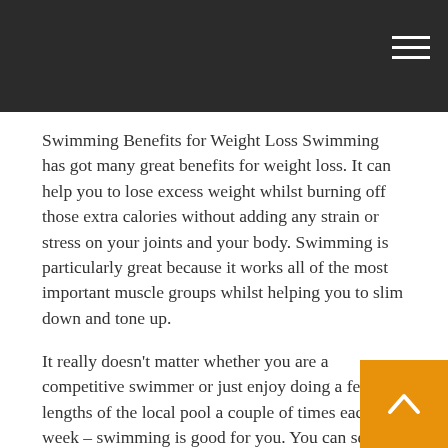Swimming Benefits for Weight Loss Swimming has got many great benefits for weight loss. It can help you to lose excess weight whilst burning off those extra calories without adding any strain or stress on your joints and your body. Swimming is particularly great because it works all of the most important muscle groups whilst helping you to slim down and tone up.
It really doesn't matter whether you are a competitive swimmer or just enjoy doing a few lengths of the local pool a couple of times each week – swimming is good for you. You can set your own pace, swim at your own speed, and at the distance, you can manage. The distance you can swim will naturally increase as you do the exercise more.
There are also lots of swimming pool exercise programs which are great fun and can help you to